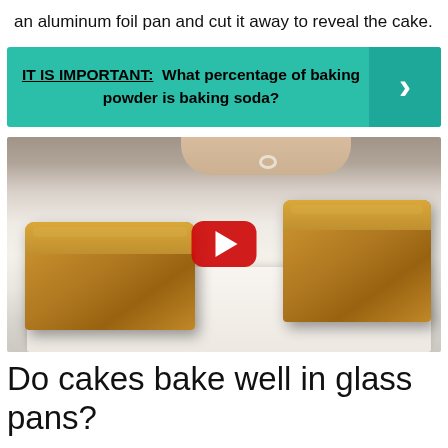an aluminum foil pan and cut it away to reveal the cake.
IT IS IMPORTANT: What percentage of baking powder is baking soda?
[Figure (screenshot): Video thumbnail showing two golden-brown loaf cakes on parchment paper on a baking tray, with a YouTube play button overlay]
Do cakes bake well in glass pans?